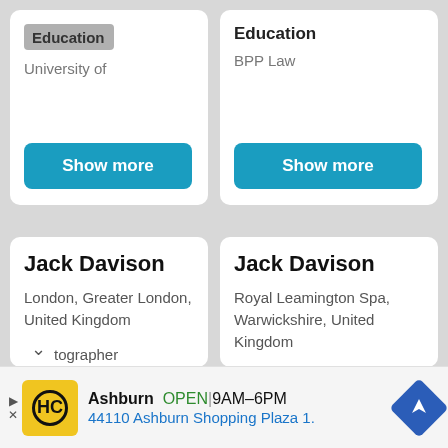Education
University of
Show more
Education
BPP Law
Show more
Jack Davison
London, Greater London, United Kingdom
tographer
Jack Davison
Royal Leamington Spa, Warwickshire, United Kingdom
Kingdom
Ashburn OPEN 9AM–6PM 44110 Ashburn Shopping Plaza 1.